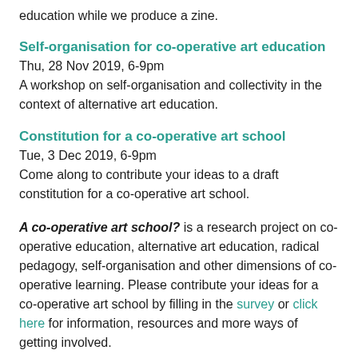education while we produce a zine.
Self-organisation for co-operative art education
Thu, 28 Nov 2019, 6-9pm
A workshop on self-organisation and collectivity in the context of alternative art education.
Constitution for a co-operative art school
Tue, 3 Dec 2019, 6-9pm
Come along to contribute your ideas to a draft constitution for a co-operative art school.
A co-operative art school? is a research project on co-operative education, alternative art education, radical pedagogy, self-organisation and other dimensions of co-operative learning. Please contribute your ideas for a co-operative art school by filling in the survey or click here for information, resources and more ways of getting involved.